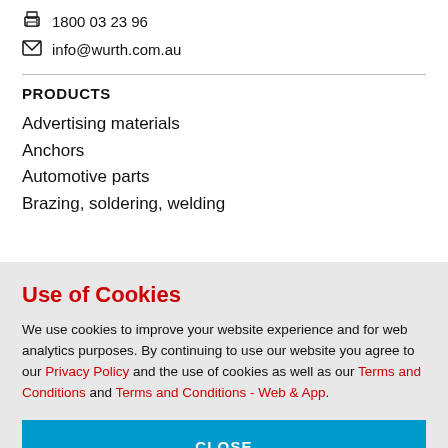1800 03 23 96
info@wurth.com.au
PRODUCTS
Advertising materials
Anchors
Automotive parts
Brazing, soldering, welding
Use of Cookies
We use cookies to improve your website experience and for web analytics purposes. By continuing to use our website you agree to our Privacy Policy and the use of cookies as well as our Terms and Conditions and Terms and Conditions - Web & App.
CLOSE